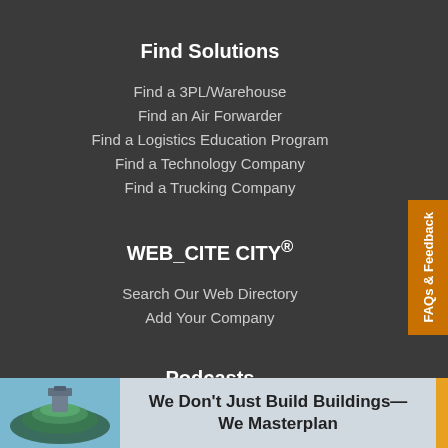Find Solutions
Find a 3PL/Warehouse
Find an Air Forwarder
Find a Logistics Education Program
Find a Technology Company
Find a Trucking Company
WEB_CITE CITY®
Search Our Web Directory
Add Your Company
Podcasts
[Figure (infographic): Banner advertisement reading 'We Don't Just Build Buildings— We Masterplan' with a building image on the left and an orange stripe on the right.]